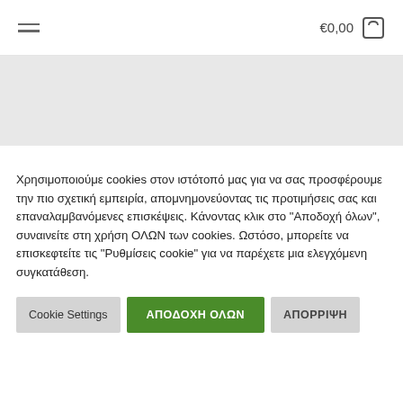≡  €0,00 🛒
[Figure (other): Gray banner/image area below header]
Χρησιμοποιούμε cookies στον ιστότοπό μας για να σας προσφέρουμε την πιο σχετική εμπειρία, απομνημονεύοντας τις προτιμήσεις σας και επαναλαμβανόμενες επισκέψεις. Κάνοντας κλικ στο "Αποδοχή όλων", συναινείτε στη χρήση ΟΛΩΝ των cookies. Ωστόσο, μπορείτε να επισκεφτείτε τις "Ρυθμίσεις cookie" για να παρέχετε μια ελεγχόμενη συγκατάθεση.
Cookie Settings
ΑΠΟΔΟΧΗ ΟΛΩΝ
ΑΠΟΡΡΙΨΗ